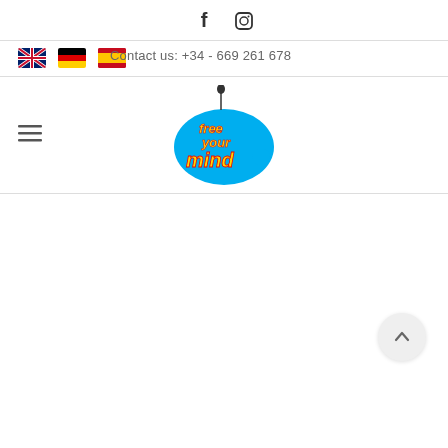[Figure (infographic): Social media icons: Facebook (f) and Instagram (camera) at top center]
[Figure (infographic): Three country flags: UK, Germany, Spain, followed by contact phone number text]
Contact us: +34 - 669 261 678
[Figure (logo): Free Your Mind logo: colorful logo with blue bubble, yellow and red text reading 'free your mind' with a person silhouette]
[Figure (infographic): Scroll-to-top button: circular button with upward arrow at bottom right]